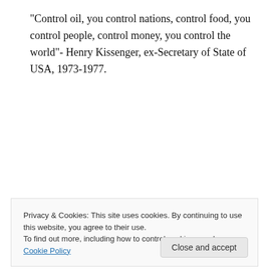“Control oil, you control nations, control food, you control people, control money, you control the world”- Henry Kissenger, ex-Secretary of State of USA, 1973-1977.
↳ Reply
Sudeeb Menon on September 2, 2008 at 4:41 pm
Since the article on Land Grab at Bandar Utama was published, and many more will be unveiled
Privacy & Cookies: This site uses cookies. By continuing to use this website, you agree to their use.
To find out more, including how to control cookies, see here: Cookie Policy
its true.